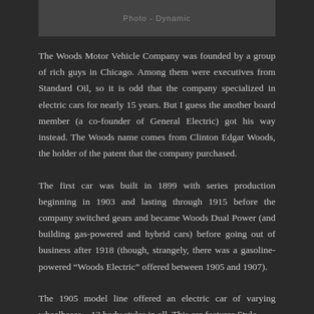[Figure (photo): Top image bar with partially visible caption text 'Photo - Dynamic' or similar on dark background]
The Woods Motor Vehicle Company was founded by a group of rich guys in Chicago. Among them were executives from Standard Oil, so it is odd that the company specialized in electric cars for nearly 15 years. But I guess the another board member (a co-founder of General Electric) got his way instead. The Woods name comes from Clinton Edgar Woods, the holder of the patent that the company purchased.
The first car was built in 1899 with series production beginning in 1903 and lasting through 1915 before the company switched gears and became Woods Dual Power (and building gas-powered and hybrid cars) before going out of business after 1918 (though, strangely, there was a gasoline-powered "Woods Electric" offered between 1905 and 1907).
The 1905 model line offered an electric car of varying wheelbases – 13 body styles in all. This car features Style